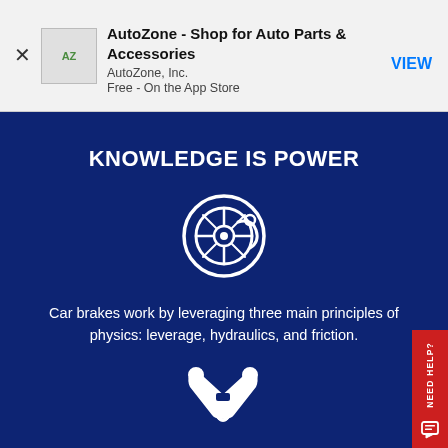[Figure (screenshot): App Store banner advertisement for AutoZone app showing AZ logo icon, app title, developer name, and price with a VIEW button]
KNOWLEDGE IS POWER
[Figure (illustration): White circular brake disc icon with decorative mechanical elements on dark blue background]
Car brakes work by leveraging three main principles of physics: leverage, hydraulics, and friction.
[Figure (illustration): White crossed wrench and screwdriver tools icon on dark blue background]
When changing your brake pads, be sure to inspect and replace